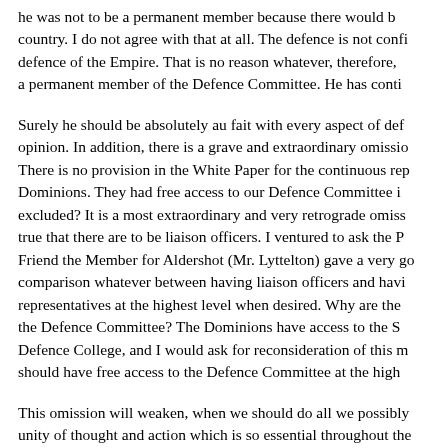he was not to be a permanent member because there would b country. I do not agree with that at all. The defence is not confi defence of the Empire. That is no reason whatever, therefore, a permanent member of the Defence Committee. He has conti
Surely he should be absolutely au fait with every aspect of def opinion. In addition, there is a grave and extraordinary omissio There is no provision in the White Paper for the continuous rep Dominions. They had free access to our Defence Committee i excluded? It is a most extraordinary and very retrograde omiss true that there are to be liaison officers. I ventured to ask the P Friend the Member for Aldershot (Mr. Lyttelton) gave a very go comparison whatever between having liaison officers and havi representatives at the highest level when desired. Why are the the Defence Committee? The Dominions have access to the S Defence College, and I would ask for reconsideration of this m should have free access to the Defence Committee at the high
This omission will weaken, when we should do all we possibly unity of thought and action which is so essential throughout the disastrous. Any units of the Empire which would not come into